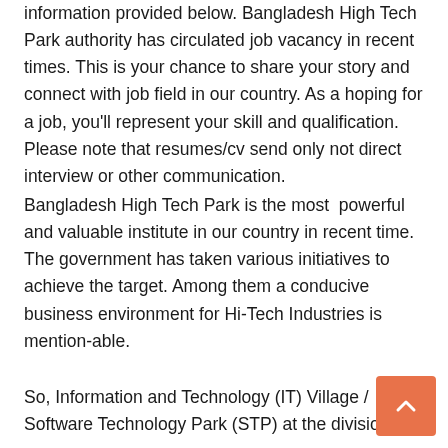information provided below. Bangladesh High Tech Park authority has circulated job vacancy in recent times. This is your chance to share your story and connect with job field in our country. As a hoping for a job, you'll represent your skill and qualification. Please note that resumes/cv send only not direct interview or other communication.
Bangladesh High Tech Park is the most  powerful and valuable institute in our country in recent time. The government has taken various initiatives to achieve the target. Among them a conducive business environment for Hi-Tech Industries is mention-able.
So, Information and Technology (IT) Village / Software Technology Park (STP) at the divisional